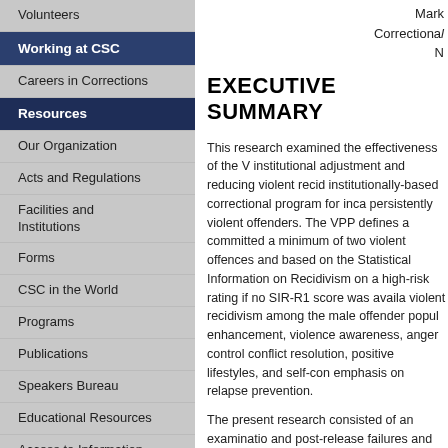Volunteers
Working at CSC
Careers in Corrections
Resources
Our Organization
Acts and Regulations
Facilities and Institutions
Forms
CSC in the World
Programs
Publications
Speakers Bureau
Educational Resources
Access to Information and Privacy
Reporting to Canadians
Completed Access to Information Requests
Proactive Disclosure
Mark
CorrectionaI
N
EXECUTIVE SUMMARY
This research examined the effectiveness of the V institutional adjustment and reducing violent recid institutionally-based correctional program for inca persistently violent offenders. The VPP defines a committed a minimum of two violent offences and based on the Statistical Information on Recidivism on a high-risk rating if no SIR-R1 score was availa violent recidivism among the male offender popul enhancement, violence awareness, anger control conflict resolution, positive lifestyles, and self-con emphasis on relapse prevention.
The present research consisted of an examinatio and post-release failures and recidivism. For the commission of a new offence, and violent recidivi offence. Analyses first examined results for all VP subgroup of Aboriginal offenders in the VPP.
Results show that completion of the VPP was rela offenders who completed the VPP had significant month and 1-year period following completion of t